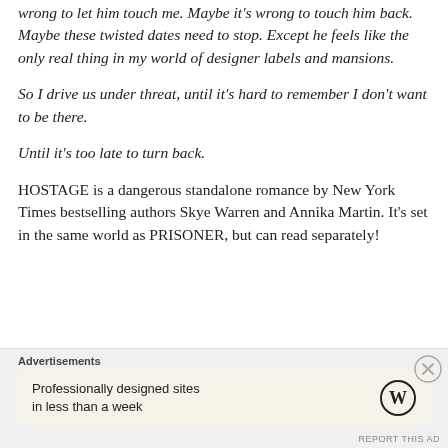wrong to let him touch me. Maybe it's wrong to touch him back. Maybe these twisted dates need to stop. Except he feels like the only real thing in my world of designer labels and mansions.
So I drive us under threat, until it's hard to remember I don't want to be there.
Until it's too late to turn back.
HOSTAGE is a dangerous standalone romance by New York Times bestselling authors Skye Warren and Annika Martin. It's set in the same world as PRISONER, but can read separately!
Advertisements
Professionally designed sites in less than a week